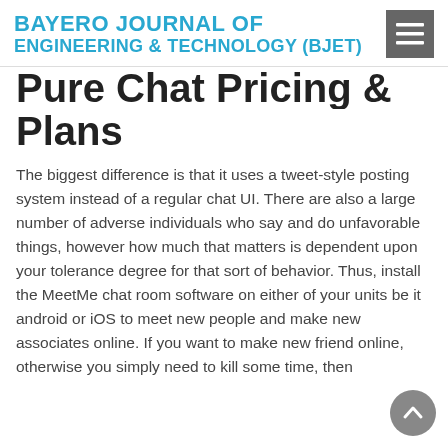BAYERO JOURNAL OF ENGINEERING & TECHNOLOGY (BJET)
Pure Chat Pricing & Plans
The biggest difference is that it uses a tweet-style posting system instead of a regular chat UI. There are also a large number of adverse individuals who say and do unfavorable things, however how much that matters is dependent upon your tolerance degree for that sort of behavior. Thus, install the MeetMe chat room software on either of your units be it android or iOS to meet new people and make new associates online. If you want to make new friend online, otherwise you simply need to kill some time, then